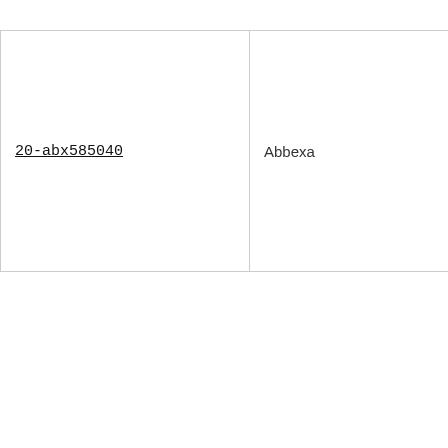| Product | Vendor | Price |
| --- | --- | --- |
| 20-abx585040 | Abbexa | 6314
EUR
3365
EUR
786
EUR |
[Figure (photo): Product image placeholder for Rat Nerve Growth Factor (NGF) ELISA Kit]
Rat Nerve Growth Factor (NGF) ELISA Kit